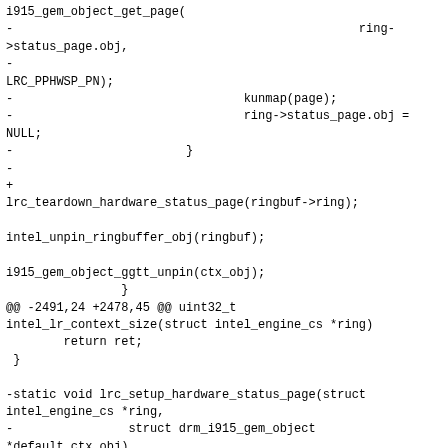i915_gem_object_get_page(
-                                                ring->status_page.obj,
-
LRC_PPHWSP_PN);
-                                kunmap(page);
-                                ring->status_page.obj = NULL;
-                        }
-
+
lrc_teardown_hardware_status_page(ringbuf->ring);

intel_unpin_ringbuffer_obj(ringbuf);

i915_gem_object_ggtt_unpin(ctx_obj);
                }
@@ -2491,24 +2478,45 @@ uint32_t
intel_lr_context_size(struct intel_engine_cs *ring)
        return ret;
 }

-static void lrc_setup_hardware_status_page(struct intel_engine_cs *ring,
-                struct drm_i915_gem_object *default_ctx_obj)
+static void lrc_setup_hardware_status_page(struct intel_engine_cs *ring)
 {
-        struct drm_i915_private *dev_priv = ring->dev->